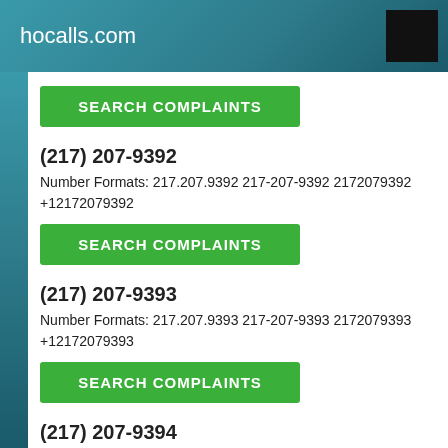hocalls.com
SEARCH COMPLAINTS
(217) 207-9392
Number Formats: 217.207.9392 217-207-9392 2172079392 +12172079392
SEARCH COMPLAINTS
(217) 207-9393
Number Formats: 217.207.9393 217-207-9393 2172079393 +12172079393
SEARCH COMPLAINTS
(217) 207-9394
Number Formats: 217.207.9394 217-207-9394 2172079394 +12172079394